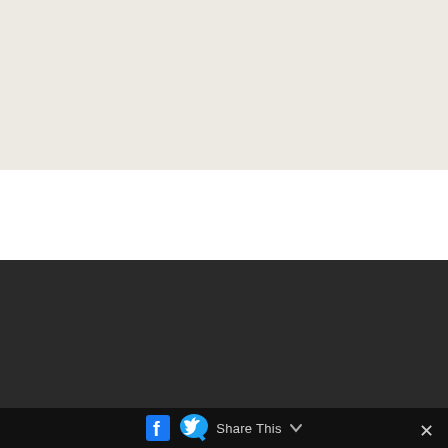[Figure (other): Beige/off-white background area at top of page, likely a map or blank content area]
Consultation
[Figure (other): Share This bar with Facebook and Twitter icons, and a close (x) button]